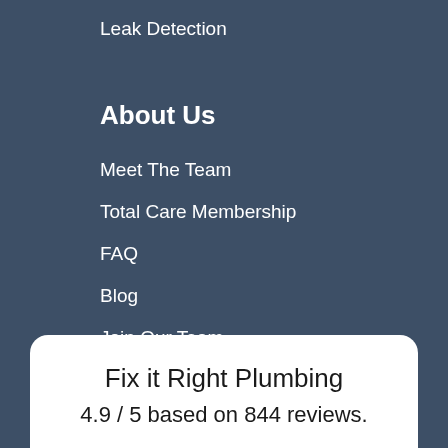Leak Detection
About Us
Meet The Team
Total Care Membership
FAQ
Blog
Join Our Team
Reviews
Fix it Right Plumbing
4.9 / 5 based on 844 reviews.